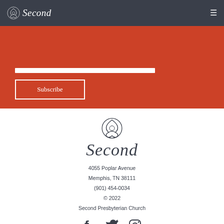Second
[Figure (logo): Second Presbyterian Church logo in white on dark navy header bar]
Subscribe
[Figure (logo): Second Presbyterian Church triquetra logo and Second wordmark in dark navy]
4055 Poplar Avenue
Memphis, TN 38111
(901) 454-0034
© 2022
Second Presbyterian Church
[Figure (illustration): Social media icons: Facebook, Twitter/X, Instagram]